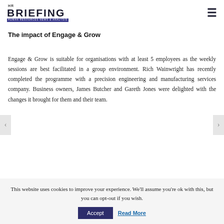HR BRIEFING | HUMAN RESOURCES NEWS & ANALYSIS
The impact of Engage & Grow
Engage & Grow is suitable for organisations with at least 5 employees as the weekly sessions are best facilitated in a group environment. Rich Wainwright has recently completed the programme with a precision engineering and manufacturing services company. Business owners, James Butcher and Gareth Jones were delighted with the changes it brought for them and their team.
This website uses cookies to improve your experience. We'll assume you're ok with this, but you can opt-out if you wish.
Accept | Read More